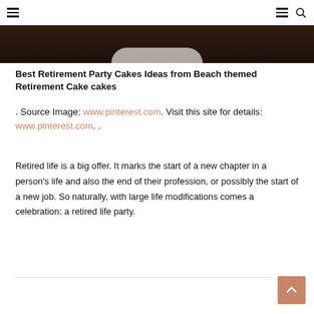Navigation header with hamburger menu and search icon
[Figure (photo): Dark brown background photo showing the bottom of a round cake on a plate/stand, cropped at the top of the page]
Best Retirement Party Cakes Ideas from Beach themed Retirement Cake cakes
. Source Image: www.pinterest.com. Visit this site for details: www.pinterest.com. .
Retired life is a big offer. It marks the start of a new chapter in a person’s life and also the end of their profession, or possibly the start of a new job. So naturally, with large life modifications comes a celebration: a retired life party.